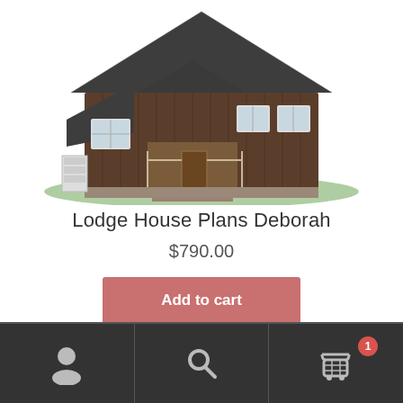[Figure (illustration): 3D rendered image of a lodge-style house with dark wood siding, grey metal roof, front porch with stairs, multiple windows, and green grass surroundings]
Lodge House Plans Deborah
$790.00
Add to cart
Navigation bar with user account, search, and shopping cart (1 item) icons